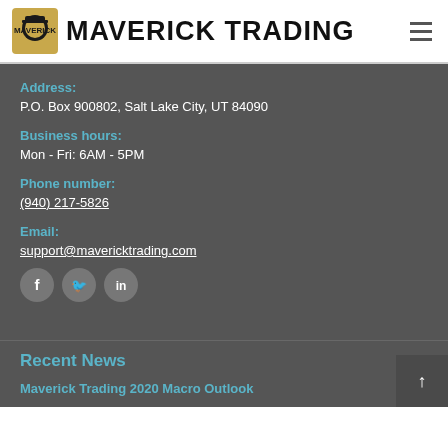MAVERICK TRADING
Address:
P.O. Box 900802, Salt Lake City, UT 84090
Business hours:
Mon - Fri: 6AM - 5PM
Phone number:
(940) 217-5826
Email:
support@mavericktrading.com
[Figure (infographic): Social media icons: Facebook (f), Twitter (bird), LinkedIn (in)]
Recent News
Maverick Trading 2020 Macro Outlook